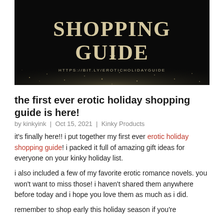[Figure (illustration): Dark black background banner image with sparkle/glitter texture. Text reads 'SHOPPING GUIDE' in large serif gold/cream letters, with URL 'HTTPS://BIT.LY/EROTICHOLIDAYGUIDE' below in small caps.]
the first ever erotic holiday shopping guide is here!
by kinkyink | Oct 15, 2021 | Kinky Products
it's finally here!! i put together my first ever erotic holiday shopping guide! i packed it full of amazing gift ideas for everyone on your kinky holiday list.
i also included a few of my favorite erotic romance novels. you won't want to miss those! i haven't shared them anywhere before today and i hope you love them as much as i did.
remember to shop early this holiday season if you're